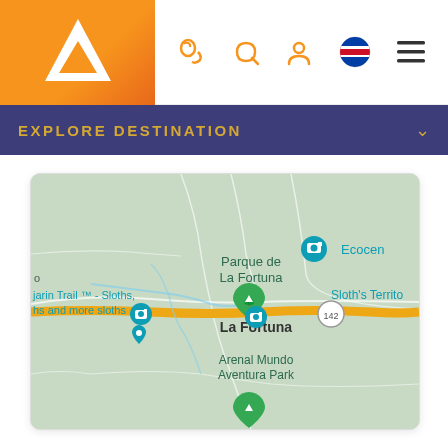Header with logo and navigation icons
EXPLORE DESTINATION
[Figure (map): Google Maps screenshot showing La Fortuna area in Costa Rica with markers for Parque de La Fortuna, Arenal Mundo Aventura Park, Tambor Trail - Sloths, Ecocenter, Sloth's Territory, and road 142.]
DID YOU KNOW?